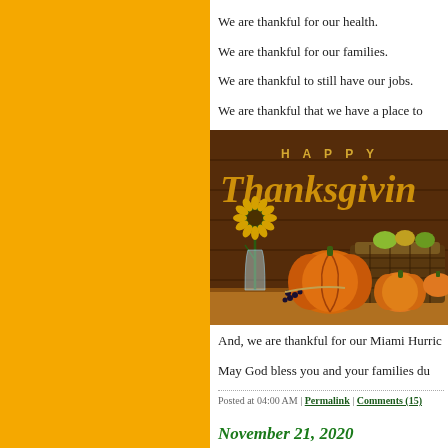We are thankful for our health.
We are thankful for our families.
We are thankful to still have our jobs.
We are thankful that we have a place to
[Figure (photo): Happy Thanksgiving image with pumpkins, sunflowers, and a basket on a wooden table with golden script text reading 'Happy Thanksgiving']
And, we are thankful for our Miami Hurric
May God bless you and your families du
Posted at 04:00 AM | Permalink | Comments (15)
November 21, 2020